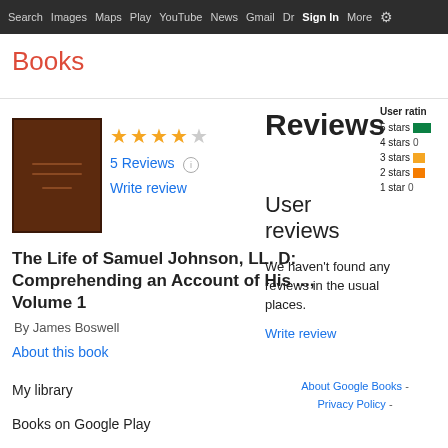Search  Images  Maps  Play  YouTube  News  Gmail  Drive  More  Sign In  ⚙
Books
[Figure (illustration): Book cover thumbnail for The Life of Samuel Johnson, brown hardcover with horizontal lines]
★★★★☆  5 Reviews  ⓘ  Write review
The Life of Samuel Johnson, LL. D: Comprehending an Account of His ..., Volume 1
By James Boswell
About this book
My library
Books on Google Play
Reviews
User reviews
We haven't found any reviews in the usual places.
Write review
User ratings
5 stars
4 stars  0
3 stars
2 stars
1 star  0
About Google Books - Privacy Policy -